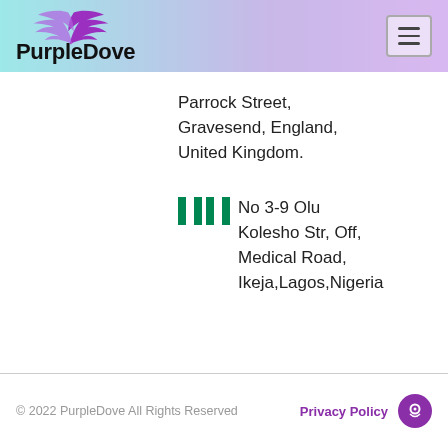PurpleDove
Parrock Street, Gravesend, England, United Kingdom.
No 3-9 Olu Kolesho Str, Off, Medical Road, Ikeja,Lagos,Nigeria
© 2022 PurpleDove All Rights Reserved   Privacy Policy